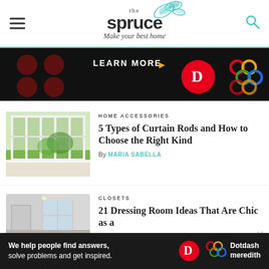the spruce — Make your best home
[Figure (screenshot): Dark advertisement banner with 'LEARN MORE' text, red Dotdash D logo, and colorful interlocking circles logo on black background]
[Figure (photo): Photo of a room with large white-framed glass doors/windows looking out to a green garden lawn]
HOME ACCESSORIES
5 Types of Curtain Rods and How to Choose the Right Kind
By MARIA SABELLA
[Figure (photo): Photo of a bright dressing room interior with windows and white walls]
CLOSETS
21 Dressing Room Ideas That Are Chic as a
[Figure (screenshot): Dark bottom banner ad: 'We help people find answers, solve problems and get inspired.' with Dotdash Meredith logos]